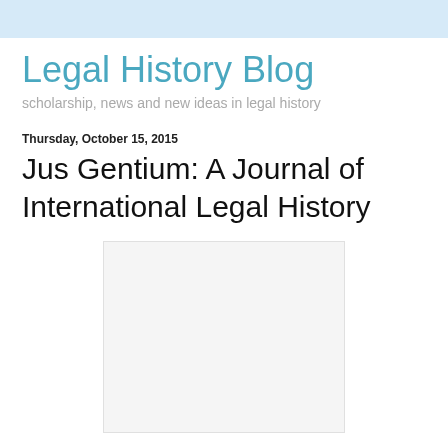Legal History Blog
scholarship, news and new ideas in legal history
Thursday, October 15, 2015
Jus Gentium: A Journal of International Legal History
[Figure (other): White rectangular image placeholder with light gray border]